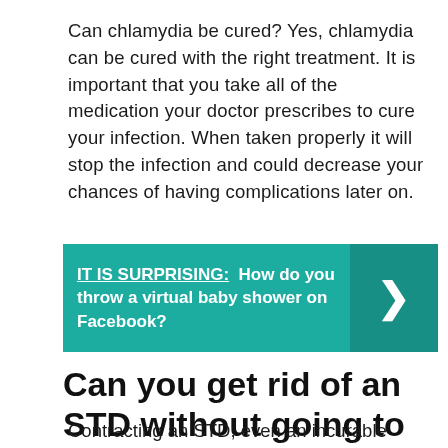Can chlamydia be cured? Yes, chlamydia can be cured with the right treatment. It is important that you take all of the medication your doctor prescribes to cure your infection. When taken properly it will stop the infection and could decrease your chances of having complications later on.
[Figure (infographic): Teal banner with text 'IT IS SURPRISING: How do you throw a virtual baby shower on Facebook?' and a right-pointing chevron arrow on a darker teal background on the right side.]
Can you get rid of an STD without going to the doctor?
Contracting an STD, even an incurable one, can be manageable. Many are treatable.